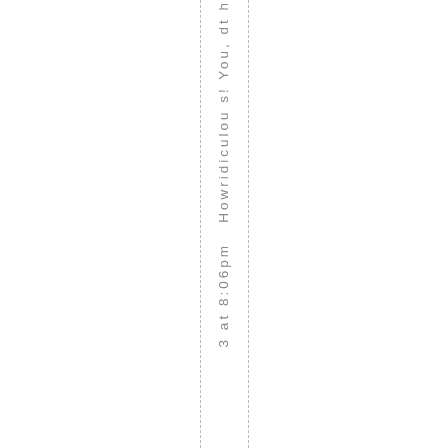3 at 8:06pm Howridiculou s! You'd th